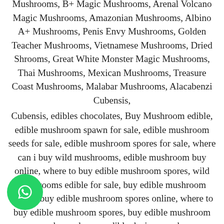Mushrooms, B+ Magic Mushrooms, Arenal Volcano Magic Mushrooms, Amazonian Mushrooms, Albino A+ Mushrooms, Penis Envy Mushrooms, Golden Teacher Mushrooms, Vietnamese Mushrooms, Dried Shrooms, Great White Monster Magic Mushrooms, Thai Mushrooms, Mexican Mushrooms, Treasure Coast Mushrooms, Malabar Mushrooms, Alacabenzi Cubensis,
Cubensis, edibles chocolates, Buy Mushroom edible, edible mushroom spawn for sale, edible mushroom seeds for sale, edible mushroom spores for sale, where can i buy wild mushrooms, edible mushroom buy online, where to buy edible mushroom spores, wild mushrooms edible for sale, buy edible mushroom spores, buy edible mushroom spores online, where to buy edible mushroom spores, buy edible mushroom spores uk, mushroom edible dosing, mushroom species, mushroom edible sac fungi, mushroom edible part, mushroom edible gummies, mushroom edible chocolate
[Figure (logo): WhatsApp green circular button icon]